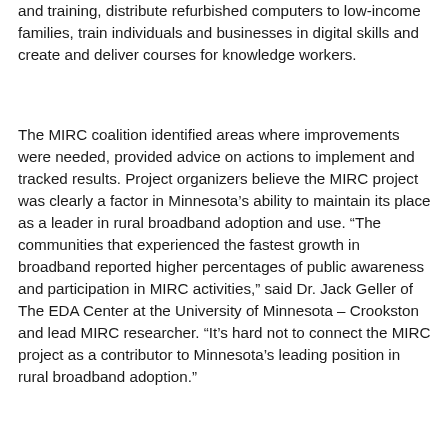and training, distribute refurbished computers to low-income families, train individuals and businesses in digital skills and create and deliver courses for knowledge workers.
The MIRC coalition identified areas where improvements were needed, provided advice on actions to implement and tracked results. Project organizers believe the MIRC project was clearly a factor in Minnesota's ability to maintain its place as a leader in rural broadband adoption and use. “The communities that experienced the fastest growth in broadband reported higher percentages of public awareness and participation in MIRC activities,” said Dr. Jack Geller of The EDA Center at the University of Minnesota – Crookston and lead MIRC researcher. “It’s hard not to connect the MIRC project as a contributor to Minnesota’s leading position in rural broadband adoption.”